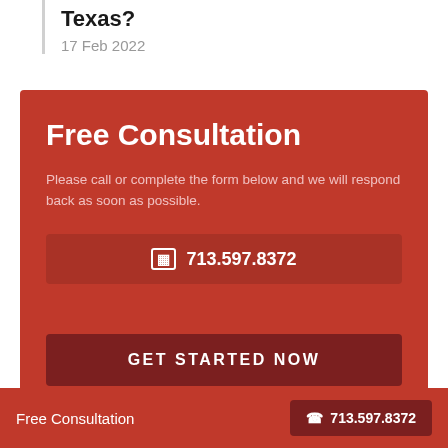Texas?
17 Feb 2022
Free Consultation
Please call or complete the form below and we will respond back as soon as possible.
📱  713.597.8372
GET STARTED NOW
Free Consultation  ☎ 713.597.8372